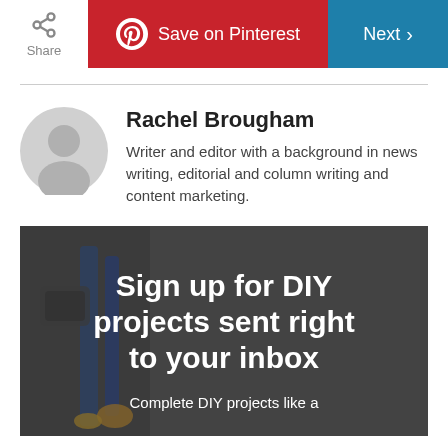Share | Save on Pinterest | Next
Rachel Brougham
Writer and editor with a background in news writing, editorial and column writing and content marketing.
[Figure (infographic): DIY newsletter signup banner with background image of electrical tools. Text reads: Sign up for DIY projects sent right to your inbox. Complete DIY projects like a...]
Complete DIY projects like a